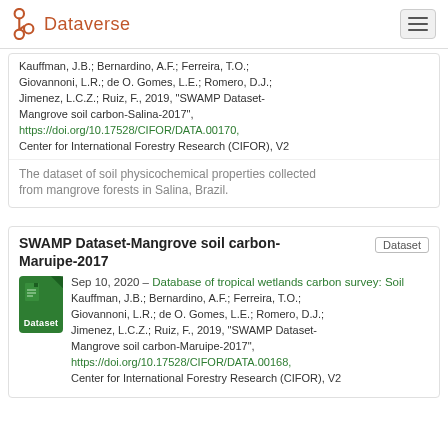Dataverse
Kauffman, J.B.; Bernardino, A.F.; Ferreira, T.O.; Giovannoni, L.R.; de O. Gomes, L.E.; Romero, D.J.; Jimenez, L.C.Z.; Ruiz, F., 2019, "SWAMP Dataset-Mangrove soil carbon-Salina-2017", https://doi.org/10.17528/CIFOR/DATA.00170, Center for International Forestry Research (CIFOR), V2
The dataset of soil physicochemical properties collected from mangrove forests in Salina, Brazil.
SWAMP Dataset-Mangrove soil carbon-Maruipe-2017
Sep 10, 2020 – Database of tropical wetlands carbon survey: Soil
Kauffman, J.B.; Bernardino, A.F.; Ferreira, T.O.; Giovannoni, L.R.; de O. Gomes, L.E.; Romero, D.J.; Jimenez, L.C.Z.; Ruiz, F., 2019, "SWAMP Dataset-Mangrove soil carbon-Maruipe-2017", https://doi.org/10.17528/CIFOR/DATA.00168, Center for International Forestry Research (CIFOR), V2